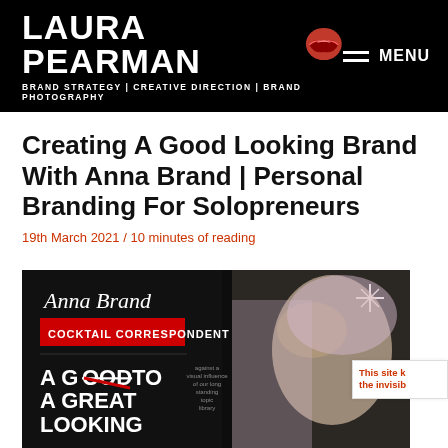LAURA PEARMAN | BRAND STRATEGY | CREATIVE DIRECTION | BRAND PHOTOGRAPHY | MENU
Creating A Good Looking Brand With Anna Brand | Personal Branding For Solopreneurs
19th March 2021 / 10 minutes of reading
[Figure (photo): Anna Brand promotional image showing book cover 'A Good To A Great Looking' with 'Cocktail Correspondent' label, alongside a photo of a woman with light pink/blonde hair]
This site k the invisibl